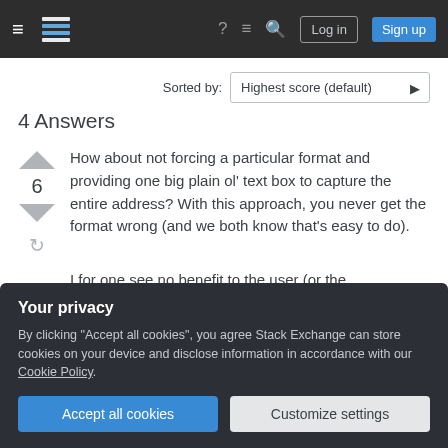Stack Exchange navigation header with hamburger menu, logo, help, chat, search icons, Log in and Sign up buttons
Sorted by:
4 Answers
Highest score (default)
How about not forcing a particular format and providing one big plain ol' text box to capture the entire address? With this approach, you never get the format wrong (and we both know that's easy to do).
I for one see no benefit to the user (or the
Your privacy
By clicking "Accept all cookies", you agree Stack Exchange can store cookies on your device and disclose information in accordance with our Cookie Policy.
Accept all cookies
Customize settings